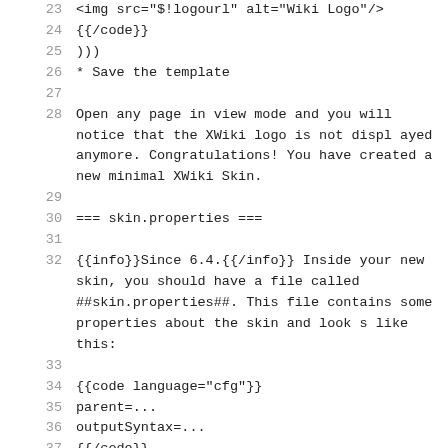23  <img src="$!logourl" alt="Wiki Logo"/>
24  {{/code}}
25  )))
26  * Save the template
27  
28  Open any page in view mode and you will notice that the XWiki logo is not displayed anymore. Congratulations! You have created a new minimal XWiki Skin.
29  
30  === skin.properties ===
31  
32  {{info}}Since 6.4.{{/info}} Inside your new skin, you should have a file called ##skin.properties##. This file contains some properties about the skin and looks like this:
33  
34  {{code language="cfg"}}
35  parent=...
36  outputSyntax=...
37  {{/code}}
38